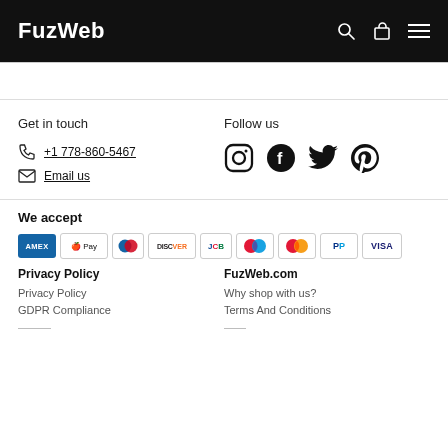FuzWeb
Get in touch
+1 778-860-5467
Email us
Follow us
[Figure (infographic): Social media icons: Instagram, Facebook, Twitter, Pinterest]
We accept
[Figure (infographic): Payment method icons: Amex, Apple Pay, Diners Club, Discover, JCB, Maestro, Mastercard, PayPal, Visa]
Privacy Policy
FuzWeb.com
Privacy Policy
GDPR Compliance
Why shop with us?
Terms And Conditions